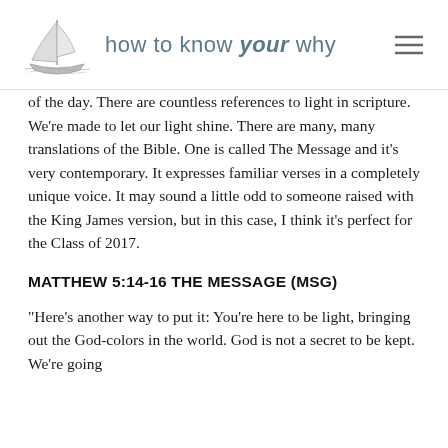how to know your why
of the day. There are countless references to light in scripture. We're made to let our light shine. There are many, many translations of the Bible. One is called The Message and it's very contemporary. It expresses familiar verses in a completely unique voice. It may sound a little odd to someone raised with the King James version, but in this case, I think it's perfect for the Class of 2017.
MATTHEW 5:14-16 THE MESSAGE (MSG)
“Here’s another way to put it: You’re here to be light, bringing out the God-colors in the world. God is not a secret to be kept. We’re going